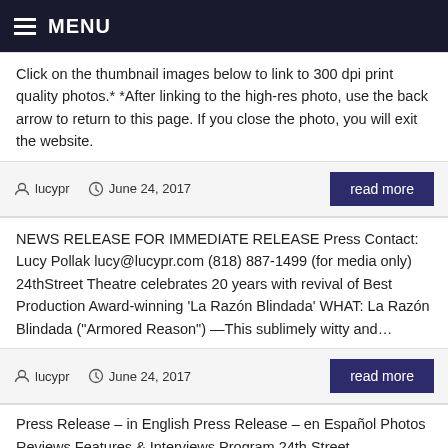MENU
Click on the thumbnail images below to link to 300 dpi print quality photos.* *After linking to the high-res photo, use the back arrow to return to this page. If you close the photo, you will exit the website.
lucypr  June 24, 2017
read more
NEWS RELEASE FOR IMMEDIATE RELEASE Press Contact: Lucy Pollak lucy@lucypr.com (818) 887-1499 (for media only)   24thStreet Theatre celebrates 20 years with revival of Best Production Award-winning ‘La Razón Blindada’ WHAT: La Razón Blindada (“Armored Reason”) —This sublimely witty and…
lucypr  June 24, 2017
read more
Press Release – in English Press Release – en Español Photos Reviews Features & Interviews Program 24th Street...